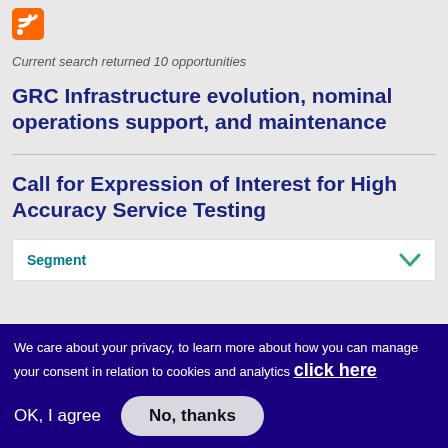[Figure (logo): RSS feed icon - orange square with white WiFi-style signal lines]
Current search returned 10 opportunities
GRC Infrastructure evolution, nominal operations support, and maintenance
Call for Expression of Interest for High Accuracy Service Testing
Segment
We care about your privacy, to learn more about how you can manage your consent in relation to cookies and analytics click here
OK, I agree
No, thanks